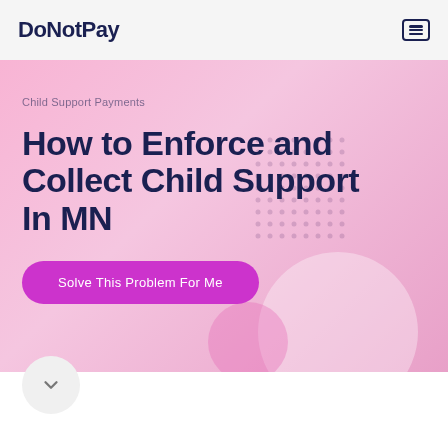DoNotPay
Child Support Payments
How to Enforce and Collect Child Support In MN
Solve This Problem For Me